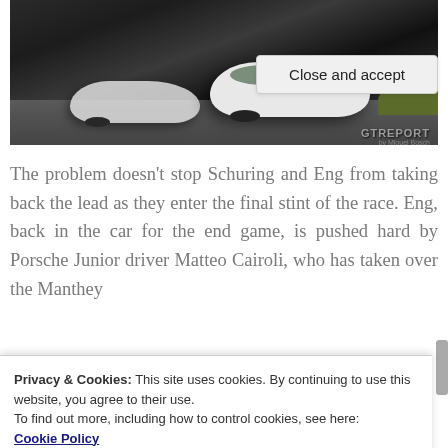[Figure (photo): White Porsche GT racing cars on a circuit track, with GTReport watermark and 'by Miguel Bosch' credit in bottom right corner.]
The problem doesn't stop Schuring and Eng from taking back the lead as they enter the final stint of the race. Eng, back in the car for the end game, is pushed hard by Porsche Junior driver Matteo Cairoli, who has taken over the Manthey
Privacy & Cookies: This site uses cookies. By continuing to use this website, you agree to their use.
To find out more, including how to control cookies, see here:
Cookie Policy
Close and accept
the lead and races off towards the chequered